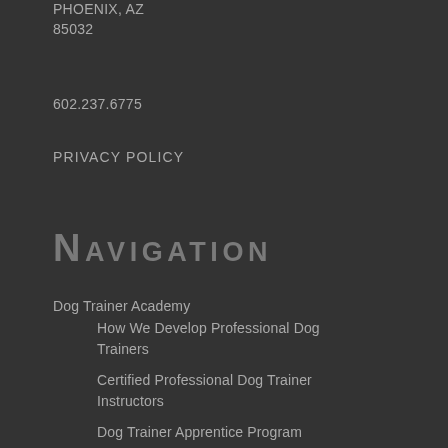PHOENIX, AZ
85032
602.237.6775
PRIVACY POLICY
Navigation
Dog Trainer Academy
How We Develop Professional Dog Trainers
Certified Professional Dog Trainer Instructors
Dog Trainer Apprentice Program
Academy Story
Testimonials
Dog Trainer Courses